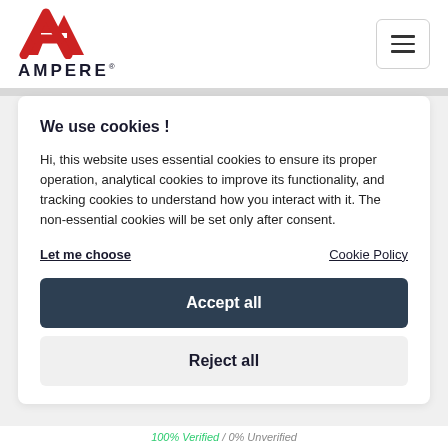[Figure (logo): Ampere logo: red stylized letter A above the text AMPERE with registered trademark symbol]
We use cookies !
Hi, this website uses essential cookies to ensure its proper operation, analytical cookies to improve its functionality, and tracking cookies to understand how you interact with it. The non-essential cookies will be set only after consent.
Let me choose
Cookie Policy
Accept all
Reject all
100% Verified / 0% Unverified